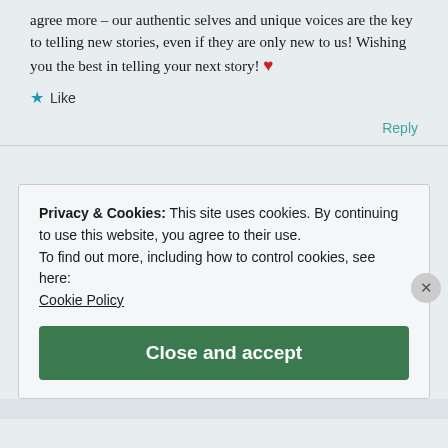agree more – our authentic selves and unique voices are the key to telling new stories, even if they are only new to us! Wishing you the best in telling your next story! ❤
★ Like
Reply
Privacy & Cookies: This site uses cookies. By continuing to use this website, you agree to their use.
To find out more, including how to control cookies, see here:
Cookie Policy
Close and accept